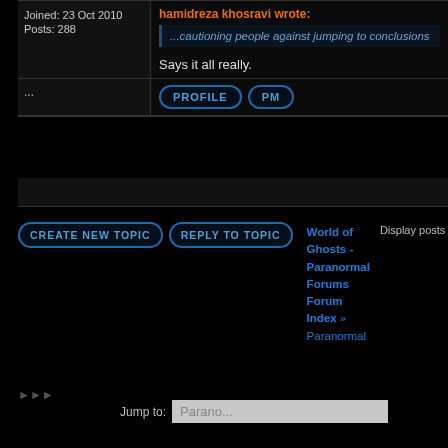Joined: 23 Oct 2010
Posts: 288
hamidreza khosravi wrote:
...cautioning people against jumping to conclusions
Says it all really.
...
PROFILE   PM
CREATE NEW TOPIC   REPLY TO TOPIC
World of Ghosts - Paranormal Forums Forum Index » Paranormal
Display posts from previous:
►►►
Jump to: Paranormal